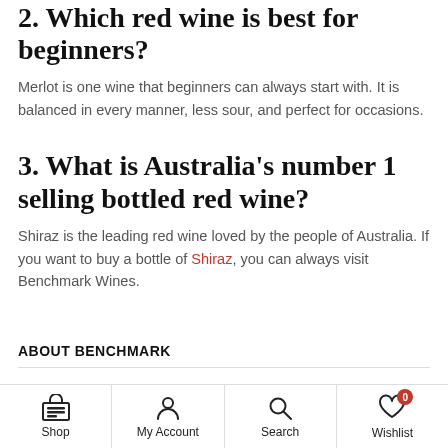2. Which red wine is best for beginners?
Merlot is one wine that beginners can always start with. It is balanced in every manner, less sour, and perfect for occasions.
3. What is Australia’s number 1 selling bottled red wine?
Shiraz is the leading red wine loved by the people of Australia. If you want to buy a bottle of Shiraz, you can always visit Benchmark Wines.
ABOUT BENCHMARK
Shop | My Account | Search | Wishlist